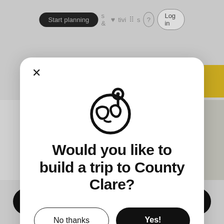[Figure (screenshot): Top navigation bar with 'Start planning' dark pill button, heart icon, grid icon, question mark circle, and 'Log in' button]
[Figure (screenshot): Modal dialog with globe/location pin icon, title 'Would you like to build a trip to County Clare?', 'No thanks' and 'Yes!' buttons]
Would you like to build a trip to County Clare?
No thanks
Yes!
Start planning